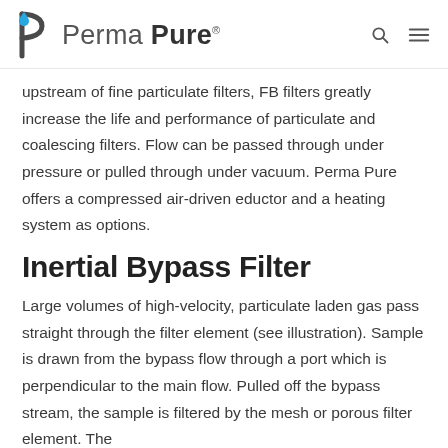Perma Pure
upstream of fine particulate filters, FB filters greatly increase the life and performance of particulate and coalescing filters. Flow can be passed through under pressure or pulled through under vacuum. Perma Pure offers a compressed air-driven eductor and a heating system as options.
Inertial Bypass Filter
Large volumes of high-velocity, particulate laden gas pass straight through the filter element (see illustration). Sample is drawn from the bypass flow through a port which is perpendicular to the main flow. Pulled off the bypass stream, the sample is filtered by the mesh or porous filter element. The